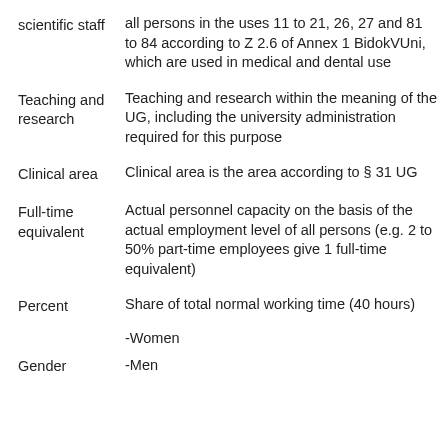scientific staff | all persons in the uses 11 to 21, 26, 27 and 81 to 84 according to Z 2.6 of Annex 1 BidokVUni, which are used in medical and dental use
Teaching and research | Teaching and research within the meaning of the UG, including the university administration required for this purpose
Clinical area | Clinical area is the area according to § 31 UG
Full-time equivalent | Actual personnel capacity on the basis of the actual employment level of all persons (e.g. 2 to 50% part-time employees give 1 full-time equivalent)
Percent | Share of total normal working time (40 hours)
Gender | -Women
-Men